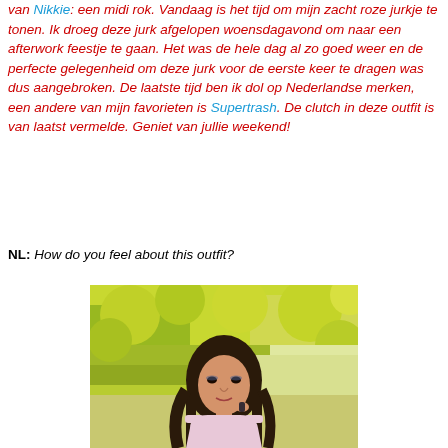van Nikkie: een midi rok. Vandaag is het tijd om mijn zacht roze jurkje te tonen. Ik droeg deze jurk afgelopen woensdagavond om naar een afterwork feestje te gaan. Het was de hele dag al zo goed weer en de perfecte gelegenheid om deze jurk voor de eerste keer te dragen was dus aangebroken. De laatste tijd ben ik dol op Nederlandse merken, een andere van mijn favorieten is Supertrash. De clutch in deze outfit is van laatst vermelde. Geniet van jullie weekend!
NL: How do you feel about this outfit?
[Figure (photo): Photo of a young woman with long dark brown wavy hair, wearing a light pink sleeveless top/dress, holding something dark in her hand near her chin. She is standing in front of a bright yellow-green leafy background (bushes or hedge). The photo is cropped to show her from approximately the waist up.]